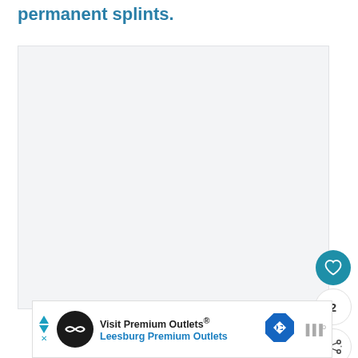permanent splints.
[Figure (photo): Large empty light gray image box, likely placeholder for a medical image related to permanent splints.]
[Figure (other): Blue circular heart/favorite button with white heart icon, count button showing '2', and share button with share icon.]
[Figure (other): Advertisement banner for 'Visit Premium Outlets® Leesburg Premium Outlets' with logo, arrow icon, and additional icons.]